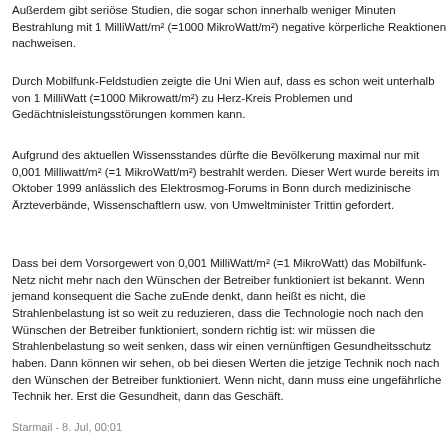Außerdem gibt seriöse Studien, die sogar schon innerhalb weni- ger Minuten Bestrahlung mit 1 MilliWatt/m² (=1000 MikroWatt/m²) ne- gative körperliche Reaktionen nachweisen.
Durch Mobilfunk-Feldstudien zeigte die Uni Wien auf, dass es s- chon weit unterhalb von 1 MilliWatt (=1000 Mikrowatt/m²) zu Herz-Kre- is- Problemen und Gedächtnisleistungsstörungen kommen kann.
Aufgrund des aktuellen Wissensstandes dürfte die Bevölkerung maximal nur mit 0,001 Milliwatt/m² (=1 MikroWatt/m²) bestrahlt w- erden. Dieser Wert wurde bereits im Oktober 1999 anlässlich des Elektrosmog-Forums in Bonn durch medizinische Ärzteverbände, Wissenschaftlern usw. von Umweltminister Trittin gefordert.
Dass bei dem Vorsorgewert von 0,001 MilliWatt/m² (=1 MikroWa- tt) das Mobilfunk-Netz nicht mehr nach den Wünschen der Betreib- er funktioniert ist bekannt. Wenn jemand konsequent die Sache zu- Ende denkt, dann heißt es nicht, die Strahlenbelastung ist so weit zu reduzieren, dass die Technologie noch nach den Wünschen der Betreiber funktioniert, sondern richtig ist: wir müssen die Strahlenbelastung so weit senken, dass wir einen vernünftigen Gesundheitsschutz haben. Dann können wir sehen, ob bei diese- n Werten die jetzige Technik noch nach den Wünschen der Betrei- ber funktioniert. Wenn nicht, dann muss eine ungefährliche Technik her. Erst die Gesundheit, dann das Geschäft.
Starmail - 8. Jul, 00:01